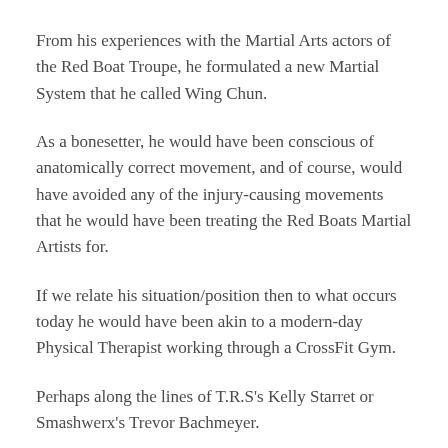From his experiences with the Martial Arts actors of the Red Boat Troupe, he formulated a new Martial System that he called Wing Chun.
As a bonesetter, he would have been conscious of anatomically correct movement, and of course, would have avoided any of the injury-causing movements that he would have been treating the Red Boats Martial Artists for.
If we relate his situation/position then to what occurs today he would have been akin to a modern-day Physical Therapist working through a CrossFit Gym.
Perhaps along the lines of T.R.S's Kelly Starret or Smashwerx's Trevor Bachmeyer.
He was coming from a position of avoiding injury but more